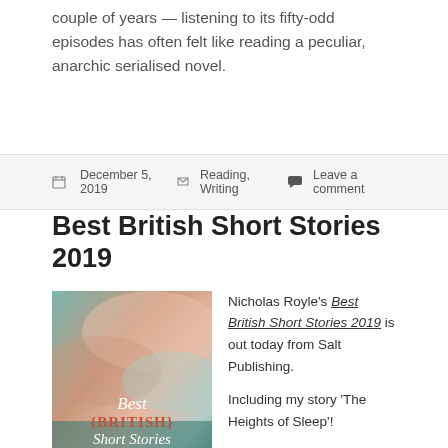couple of years — listening to its fifty-odd episodes has often felt like reading a peculiar, anarchic serialised novel.
December 5, 2019   Reading, Writing   Leave a comment
Best British Short Stories 2019
[Figure (illustration): Book cover of Best British Short Stories 2019 with abstract painted background in teal, pink and salmon tones, with the title text displayed.]
Nicholas Royle's Best British Short Stories 2019 is out today from Salt Publishing.

Including my story 'The Heights of Sleep'!